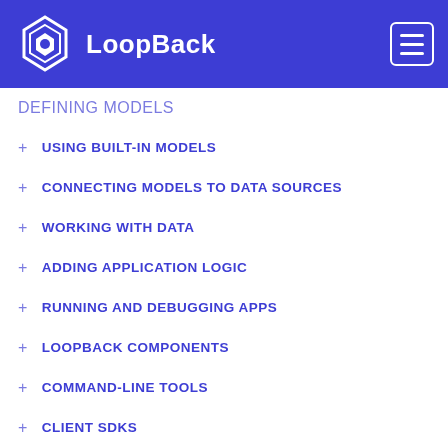LoopBack
DEFINING MODELS
USING BUILT-IN MODELS
CONNECTING MODELS TO DATA SOURCES
WORKING WITH DATA
ADDING APPLICATION LOGIC
RUNNING AND DEBUGGING APPS
LOOPBACK COMPONENTS
COMMAND-LINE TOOLS
CLIENT SDKS
CONNECTORS REFERENCE
PROJECT LAYOUT REFERENCE
NODE REFERENCE
PUBLISH-SUBSCRIBE MESSAGING
ALL TAGS
This article is for LoopBack 2.x, which is no longer supported. Please see the corresponding article for 3.x.